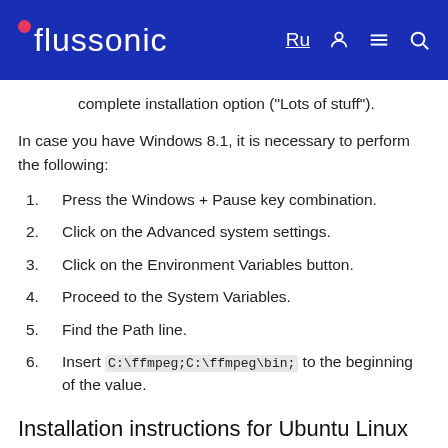flussonic  Ru
complete installation option ("Lots of stuff").
In case you have Windows 8.1, it is necessary to perform the following:
1. Press the Windows + Pause key combination.
2. Click on the Advanced system settings.
3. Click on the Environment Variables button.
4. Proceed to the System Variables.
5. Find the Path line.
6. Insert C:\ffmpeg;C:\ffmpeg\bin; to the beginning of the value.
Installation instructions for Ubuntu Linux